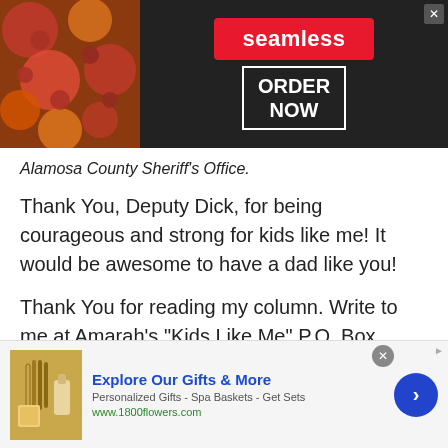[Figure (screenshot): Seamless food delivery advertisement banner with pizza image on left, red 'seamless' badge in center, and 'ORDER NOW' box on right, dark background]
Alamosa County Sheriff’s Office.
Thank You, Deputy Dick, for being courageous and strong for kids like me! It would be awesome to have a dad like you!
Thank You for reading my column. Write to me at Amarah’s “Kids Like Me” P.O. Box 354, Alamosa, CO 81101.
My goal is to help kids like me, and I want to help their parents, too. Until next time, remember,
[Figure (screenshot): 1800flowers.com advertisement banner. Shows gifts image on left, 'Explore Our Gifts & More' title in blue, subtitle 'Personalized Gifts - Spa Baskets - Get Sets', URL www.1800flowers.com in green, and blue arrow button on right.]